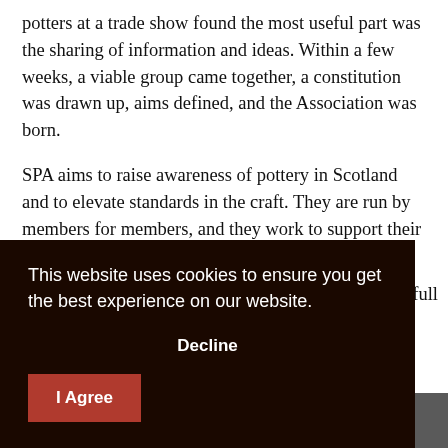potters at a trade show found the most useful part was the sharing of information and ideas. Within a few weeks, a viable group came together, a constitution was drawn up, aims defined, and the Association was born.
SPA aims to raise awareness of pottery in Scotland and to elevate standards in the craft. They are run by members for members, and they work to support their members whether they are experienced professionals or just starting
r full
[Figure (screenshot): Cookie consent overlay with dark brown background. Text reads: 'This website uses cookies to ensure you get the best experience on our website.' with a 'Decline' button and a red 'I Agree' button.]
[Figure (photo): Partial view of a photograph at the bottom of the page, appears to show pottery or craft-related image.]